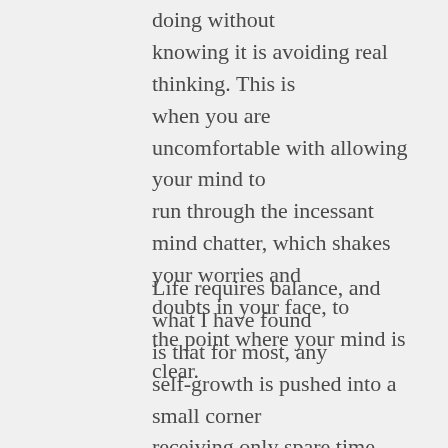doing without knowing it is avoiding real thinking. This is when you are uncomfortable with allowing your mind to run through the incessant mind chatter, which shakes your worries and doubts in your face, to the point where your mind is clear.
Life requires balance, and what I have found is that for most, any self-growth is pushed into a small corner receiving only spare time attention – sometimes. Are you running in circles doing the same things each day and not seeing any change? Are you frustrated with